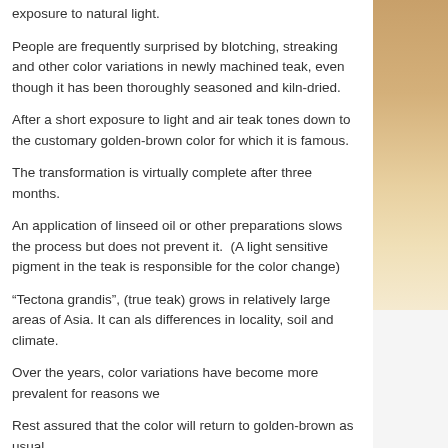exposure to natural light.
People are frequently surprised by blotching, streaking and other color variations in newly machined teak, even though it has been thoroughly seasoned and kiln-dried.
After a short exposure to light and air teak tones down to the customary golden-brown color for which it is famous.
The transformation is virtually complete after three months.
An application of linseed oil or other preparations slows the process but does not prevent it.  (A light sensitive pigment in the teak is responsible for the color change)
“Tectona grandis”, (true teak) grows in relatively large areas of Asia. It can also vary due to differences in locality, soil and climate.
Over the years, color variations have become more prevalent for reasons we
Rest assured that the color will return to golden-brown as usual.
Learn more about Teak Lumber here